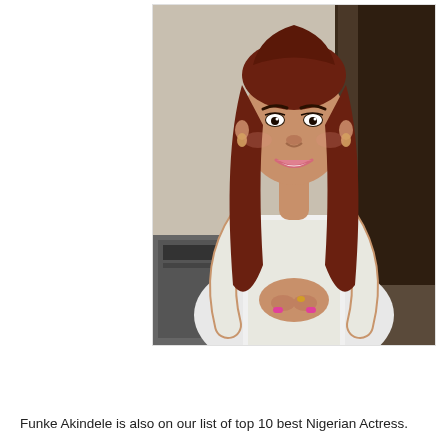[Figure (photo): Portrait photo of Funke Akindele, a Nigerian actress, wearing a white lace/crochet blouse, with long reddish-brown hair, smiling, hands clasped in front, standing indoors.]
Funke Akindele is also on our list of top 10 best Nigerian Actress.